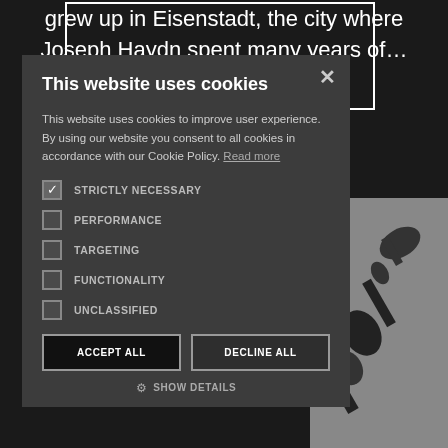grew up in Eisenstadt, the city where Joseph Haydn spent many years of…
[Figure (screenshot): Cookie consent dialog overlay on a dark website background. Dialog has title 'This website uses cookies', body text about cookie policy, checkboxes for STRICTLY NECESSARY (checked), PERFORMANCE, TARGETING, FUNCTIONALITY, UNCLASSIFIED, and buttons ACCEPT ALL and DECLINE ALL, plus SHOW DETAILS link.]
This website uses cookies
This website uses cookies to improve user experience. By using our website you consent to all cookies in accordance with our Cookie Policy. Read more
STRICTLY NECESSARY
PERFORMANCE
TARGETING
FUNCTIONALITY
UNCLASSIFIED
ACCEPT ALL
DECLINE ALL
SHOW DETAILS